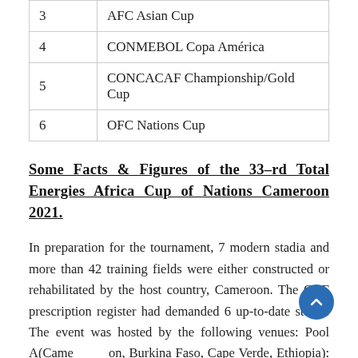| # | Tournament |
| --- | --- |
| 3 | AFC Asian Cup |
| 4 | CONMEBOL Copa América |
| 5 | CONCACAF Championship/Gold Cup |
| 6 | OFC Nations Cup |
Some Facts & Figures of the 33–rd Total Energies Africa Cup of Nations Cameroon 2021.
In preparation for the tournament, 7 modern stadia and more than 42 training fields were either constructed or rehabilitated by the host country, Cameroon. The CAF prescription register had demanded 6 up-to-date stadia. The event was hosted by the following venues: Pool A(Cameroon, Burkina Faso, Cape Verde, Ethiopia): Yaounde-Olembe; Pool B(Guinea, Malawi, Senegal